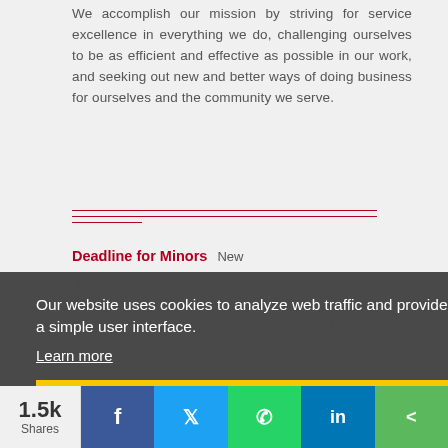We accomplish our mission by striving for service excellence in everything we do, challenging ourselves to be as efficient and effective as possible in our work, and seeking out new and better ways of doing business for ourselves and the community we serve.
Deadline for Minors New
Our website uses cookies to analyze web traffic and provide a simple user interface. Learn more
Got it!
1.5k Shares